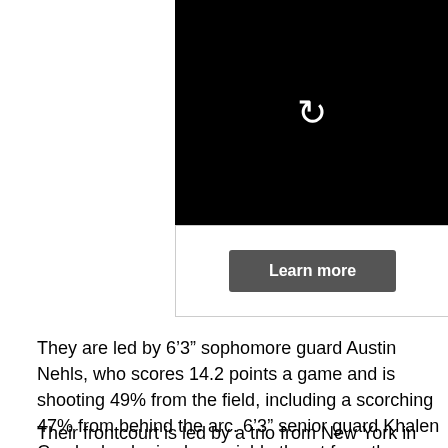[Figure (screenshot): Black video player area with a white replay/refresh icon in the center]
[Figure (screenshot): White area with a dark gray 'Learn more' button]
They are led by 6’3” sophomore guard Austin Nehls, who scores 14.2 points a game and is shooting 49% from the field, including a scorching 47% from behind the arc. 6’3” senior guard Khalen Cumberlander is also a viable threat from three-point range, shooting 44% and scoring 11.8 points per game.
Their frontcourt is led by a trio from New York in 6’8” senior Tafari Whittingham, 6’7” senior Tidell Pierre, and